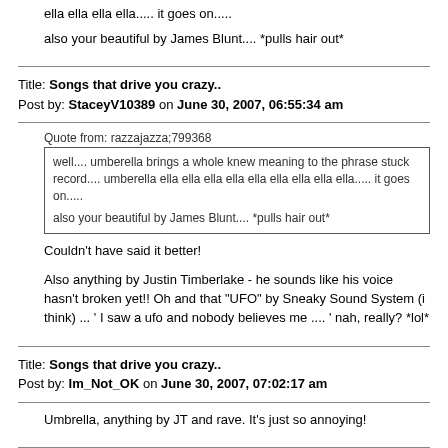ella ella ella ella..... it goes on.....
also your beautiful by James Blunt.... *pulls hair out*
Title: Songs that drive you crazy.. Post by: StaceyV10389 on June 30, 2007, 06:55:34 am
Quote from: razzajazza;799368
well.... umberella brings a whole knew meaning to the phrase stuck record.... umberella ella ella ella ella ella ella ella ella ella..... it goes on.....
also your beautiful by James Blunt.... *pulls hair out*
Couldn't have said it better!
Also anything by Justin Timberlake - he sounds like his voice hasn't broken yet!! Oh and that "UFO" by Sneaky Sound System (i think) ... ' I saw a ufo and nobody believes me .... ' nah, really? *lol*
Title: Songs that drive you crazy.. Post by: Im_Not_OK on June 30, 2007, 07:02:17 am
Umbrella, anything by JT and rave. It's just so annoying!
Title: Songs that drive you crazy..